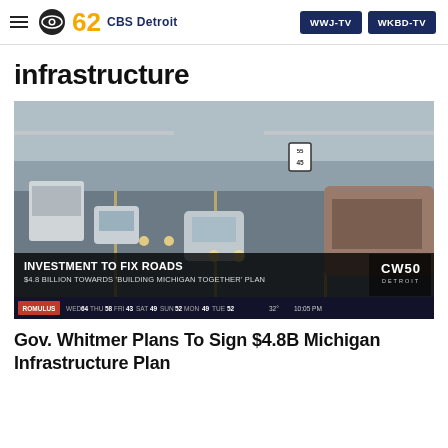CBS 62 CBS Detroit | WWJ-TV | WKBD-TV
infrastructure
[Figure (photo): TV news screenshot showing highway traffic with cars in multiple lanes. Lower-third graphic overlay reads 'INVESTMENT TO FIX ROADS' and '$4.8 BILLION TOWARDS BUILDING MICHIGAN TOGETHER PLAN'. CW50 Detroit logo visible. Weather ticker at bottom.]
Gov. Whitmer Plans To Sign $4.8B Michigan Infrastructure Plan